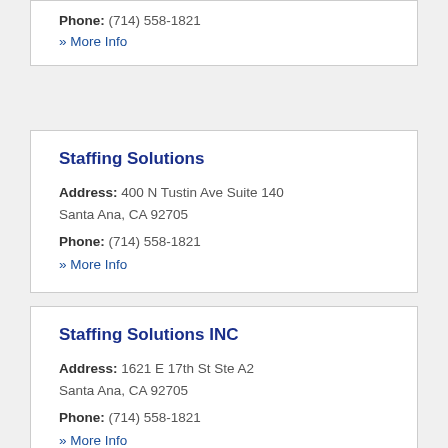Phone: (714) 558-1821
» More Info
Staffing Solutions
Address: 400 N Tustin Ave Suite 140
Santa Ana, CA 92705
Phone: (714) 558-1821
» More Info
Staffing Solutions INC
Address: 1621 E 17th St Ste A2
Santa Ana, CA 92705
Phone: (714) 558-1821
» More Info